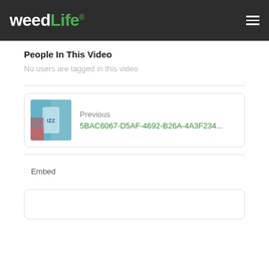weedLife®
People In This Video
No users are tagged in this video
Previous
5BAC6067-D5AF-4692-B26A-4A3F234...
· Embed